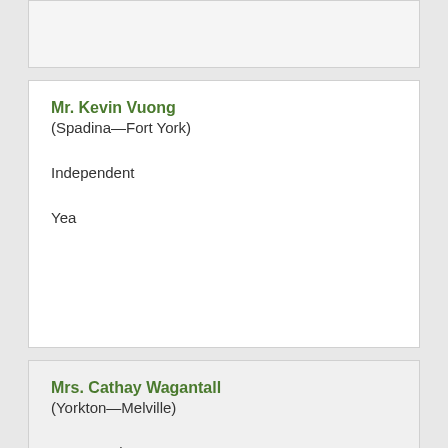Mr. Kevin Vuong (Spadina—Fort York)
Independent
Yea
Mrs. Cathay Wagantall (Yorkton—Melville)
Conservative
Yea
Mr. Chris Warkentin